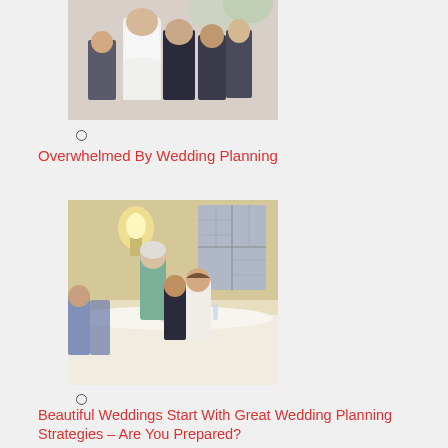[Figure (photo): Wedding ceremony photo showing a bride in white veil and dress with groom and guests in formal attire, viewed from behind]
○
Overwhelmed By Wedding Planning
[Figure (photo): Wedding reception photo showing guests seated at a decorated table with flowers, an older woman standing and speaking, interior venue with wall sconce lighting and windows]
○
Beautiful Weddings Start With Great Wedding Planning Strategies – Are You Prepared?